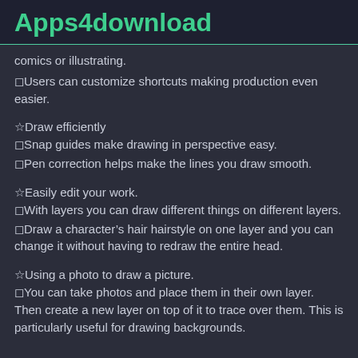Apps4download
comics or illustrating.
◻Users can customize shortcuts making production even easier.
☆Draw efficiently
◻Snap guides make drawing in perspective easy.
◻Pen correction helps make the lines you draw smooth.
☆Easily edit your work.
◻With layers you can draw different things on different layers.
◻Draw a character's hair hairstyle on one layer and you can change it without having to redraw the entire head.
☆Using a photo to draw a picture.
◻You can take photos and place them in their own layer. Then create a new layer on top of it to trace over them. This is particularly useful for drawing backgrounds.